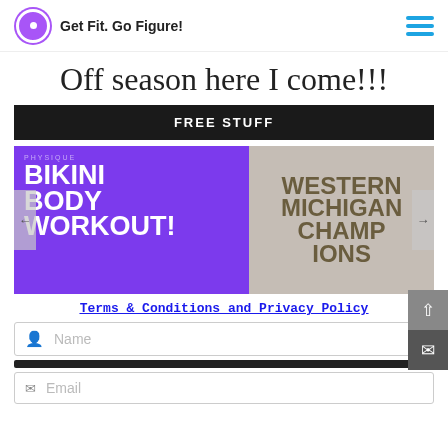Get Fit. Go Figure!
Off season here I come!!!
FREE STUFF
[Figure (photo): Bikini Body Workout promotional image showing a fitness competitor at Western Michigan Champions event, with purple and grey background. Text reads PHYSIQUE, BIKINI BODY WORKOUT! on the left and WESTERN MICHIGAN CHAMPIONS on the right.]
Terms & Conditions and Privacy Policy
Name
Email